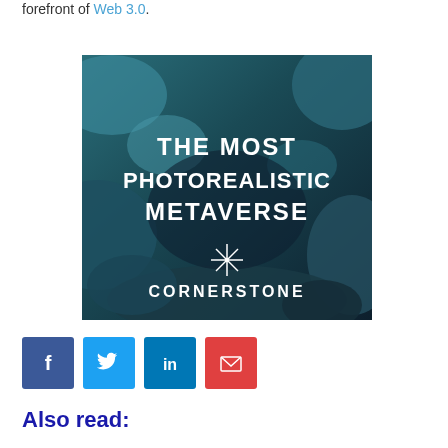forefront of Web 3.0.
[Figure (photo): Promotional image for 'The Most Photorealistic Metaverse' by Cornerstone, showing rocky terrain with white text overlay and a star/asterisk logo.]
[Figure (infographic): Four social share buttons: Facebook (dark blue), Twitter (light blue), LinkedIn (blue), Email (red)]
Also read: